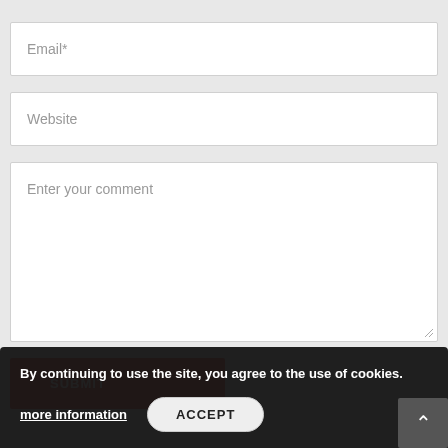Email*
Website
Enter your comment
SUBMIT
By continuing to use the site, you agree to the use of cookies.
more information
ACCEPT